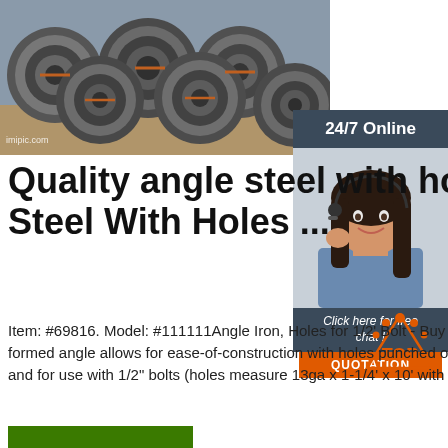[Figure (photo): Steel wire rod coils stacked outdoors, grey metallic color]
[Figure (photo): 24/7 Online customer service representative with headset, smiling]
Quality angle steel with holes - Angle Steel With Holes ...
Item: #69816. Model: #111111Angle Iron, Holes for 1/2' Bolt - Buy Online atThis ve our roll-formed angle allows for ease-of-construction with holes punched on either one or both legs, and for use with 1/2" bolts (holes measure 13ga x 1-1/4' x 10' with ...